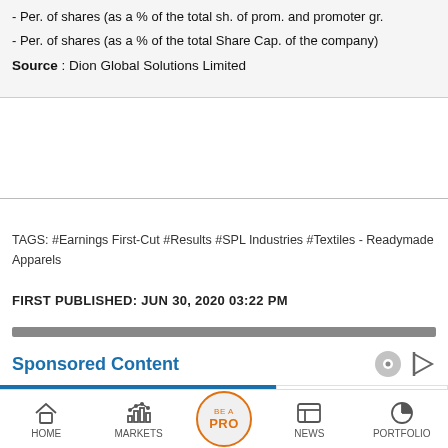- Per. of shares (as a % of the total sh. of prom. and promoter gr.
- Per. of shares (as a % of the total Share Cap. of the company)
Source : Dion Global Solutions Limited
TAGS: #Earnings First-Cut #Results #SPL Industries #Textiles - Readymade Apparels
FIRST PUBLISHED: JUN 30, 2020 03:22 PM
Sponsored Content
SPL Industries Standalone March 2020 Net Sales and P...
No more anniversary appraisals for TCS
HOME   MARKETS   BE A PRO   NEWS   PORTFOLIO